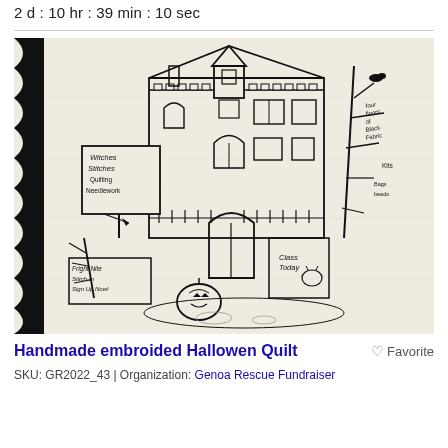2 d : 10 hr : 39 min : 10 sec
[Figure (illustration): Embroidered quilt panel showing a spooky Halloween haunted house with signs reading 'Witches Stitches Quilting Needlework', 'Class Today', 'Fright Nite Stitch-In Sign Up Now', bare trees, a black cat, a pumpkin, and a crow. The left edge has a black wavy border.]
Handmade embroided Hallowen Quilt
♡ Favorite
SKU: GR2022_43 | Organization: Genoa Rescue Fundraiser